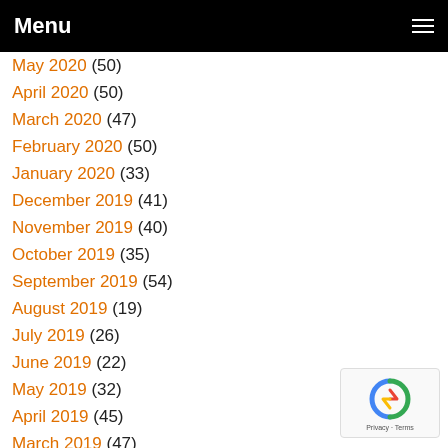Menu
May 2020 (50)
April 2020 (50)
March 2020 (47)
February 2020 (50)
January 2020 (33)
December 2019 (41)
November 2019 (40)
October 2019 (35)
September 2019 (54)
August 2019 (19)
July 2019 (26)
June 2019 (22)
May 2019 (32)
April 2019 (45)
March 2019 (47)